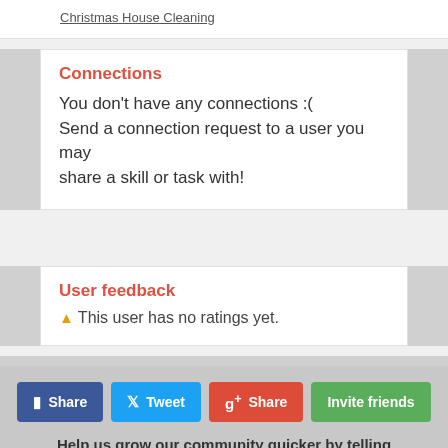Christmas House Cleaning
Connections
You don't have any connections :(
Send a connection request to a user you may share a skill or task with!
User feedback
⚠ This user has no ratings yet.
Share
Tweet
Share
Invite friends
Help us grow our community quicker by telling your friends about us!